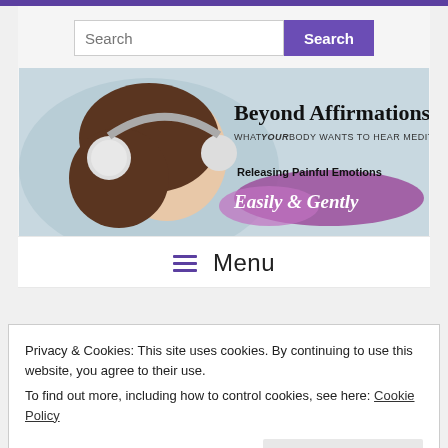[Figure (screenshot): Top purple bar]
[Figure (screenshot): Search bar with text input and purple Search button]
[Figure (illustration): Banner image: woman with headphones, text 'Beyond Affirmations', 'WHAT YOUR BODY WANTS TO HEAR MEDITATIONS', 'Releasing Painful Emotions', 'Easily & Gently']
≡  Menu
Privacy & Cookies: This site uses cookies. By continuing to use this website, you agree to their use.
To find out more, including how to control cookies, see here: Cookie Policy
Close and accept
The Huge Emotional Block That